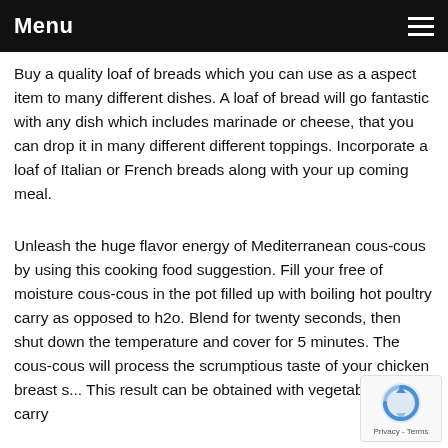Menu
Buy a quality loaf of breads which you can use as a aspect item to many different dishes. A loaf of bread will go fantastic with any dish which includes marinade or cheese, that you can drop it in many different different toppings. Incorporate a loaf of Italian or French breads along with your up coming meal.
Unleash the huge flavor energy of Mediterranean cous-cous by using this cooking food suggestion. Fill your free of moisture cous-cous in the pot filled up with boiling hot poultry carry as opposed to h2o. Blend for twenty seconds, then shut down the temperature and cover for 5 minutes. The cous-cous will process the scrumptious taste of your chicken breast s... This result can be obtained with vegetable or beef carry...